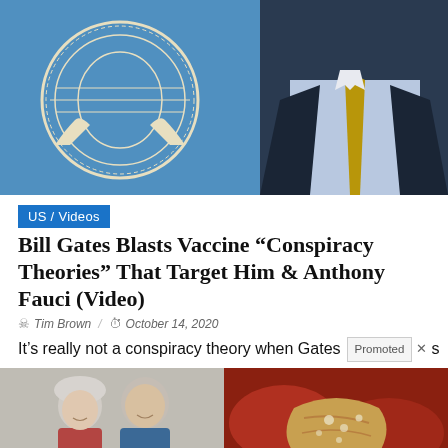[Figure (photo): Hero image showing UN seal/logo on blue background on the left, and a man in a dark suit with a gold tie on the right]
US / Videos
Bill Gates Blasts Vaccine “Conspiracy Theories” That Target Him & Anthony Fauci (Video)
Tim Brown / October 14, 2020
It’s really not a conspiracy theory when Gates
[Figure (photo): An older couple smiling outdoors, wearing winter/outdoor clothing]
How Long Will Your $1 Million Last In Retirement?
1,938
[Figure (photo): Close-up medical image of internal organs, appears to be pancreas or intestinal anatomy]
Stop Using Metformin. Here’s Why
191,308